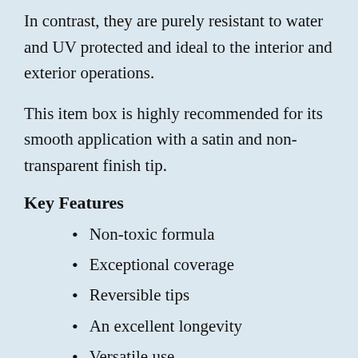In contrast, they are purely resistant to water and UV protected and ideal to the interior and exterior operations.
This item box is highly recommended for its smooth application with a satin and non-transparent finish tip.
Key Features
Non-toxic formula
Exceptional coverage
Reversible tips
An excellent longevity
Versatile use
Dries fast